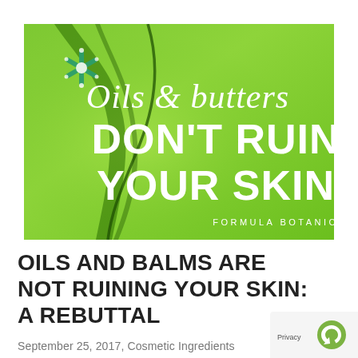[Figure (illustration): Promotional banner image with bright green background. Features a decorative snowflake/asterisk icon in the upper left, a dark curved line design element, and white text reading 'Oils & butters DON'T RUIN YOUR SKIN' with 'FORMULA BOTANICA' in small caps at the bottom right.]
OILS AND BALMS ARE NOT RUINING YOUR SKIN: A REBUTTAL
September 25, 2017, Cosmetic Ingredients